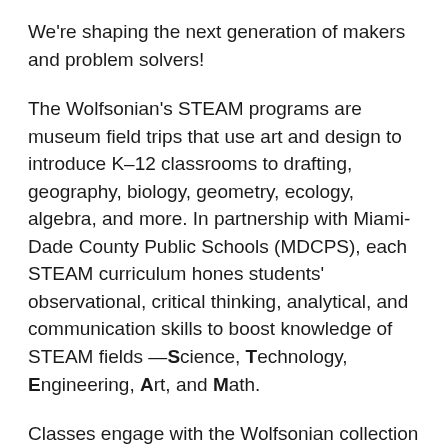We're shaping the next generation of makers and problem solvers!
The Wolfsonian's STEAM programs are museum field trips that use art and design to introduce K–12 classrooms to drafting, geography, biology, geometry, ecology, algebra, and more. In partnership with Miami-Dade County Public Schools (MDCPS), each STEAM curriculum hones students' observational, critical thinking, analytical, and communication skills to boost knowledge of STEAM fields —Science, Technology, Engineering, Art, and Math.
Classes engage with the Wolfsonian collection through close looking and tactile learning. Alone or in groups, students spot technological and design details and imagine how objects were used, where, and by whom. Principles of perspective, scale, volume, and angles help kids formulate three-dimensional understanding of objects…